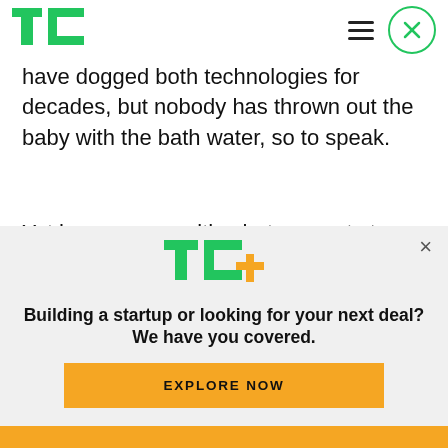TechCrunch header with logo, hamburger menu, and close button
have dogged both technologies for decades, but nobody has thrown out the baby with the bath water, so to speak.
Yet here we are with what amounts to more advanced versions of cruise control — which some companies have branded “autopilot” or “autonomous” to appeal to our ever-increasing
[Figure (logo): TC+ logo with green TC and yellow plus sign]
Building a startup or looking for your next deal? We have you covered.
EXPLORE NOW